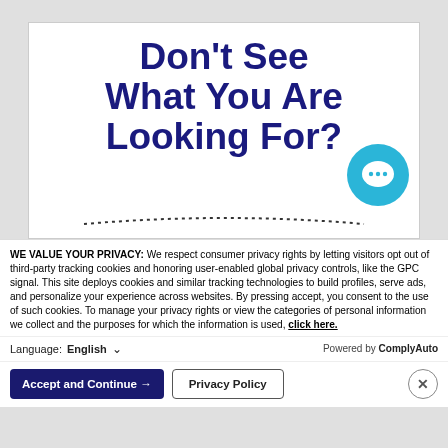[Figure (screenshot): Website banner with large bold dark blue text reading 'Don't See What You Are Looking For?' with a teal chat bubble icon in the lower right corner, and a dotted arc at the bottom]
WE VALUE YOUR PRIVACY: We respect consumer privacy rights by letting visitors opt out of third-party tracking cookies and honoring user-enabled global privacy controls, like the GPC signal. This site deploys cookies and similar tracking technologies to build profiles, serve ads, and personalize your experience across websites. By pressing accept, you consent to the use of such cookies. To manage your privacy rights or view the categories of personal information we collect and the purposes for which the information is used, click here.
Language: English ∨ Powered by ComplyAuto
Accept and Continue → Privacy Policy ×